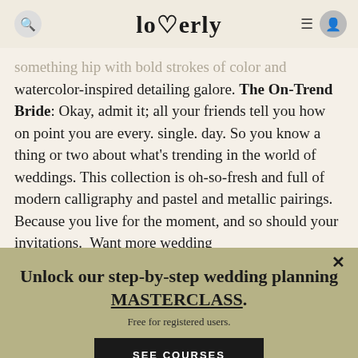loverly
something hip with bold strokes of color and watercolor-inspired detailing galore. The On-Trend Bride: Okay, admit it; all your friends tell you how on point you are every. single. day. So you know a thing or two about what's trending in the world of weddings. This collection is oh-so-fresh and full of modern calligraphy and pastel and metallic pairings. Because you live for the moment, and so should your invitations.  Want more wedding
Unlock our step-by-step wedding planning MASTERCLASS.
Free for registered users.
SEE COURSES